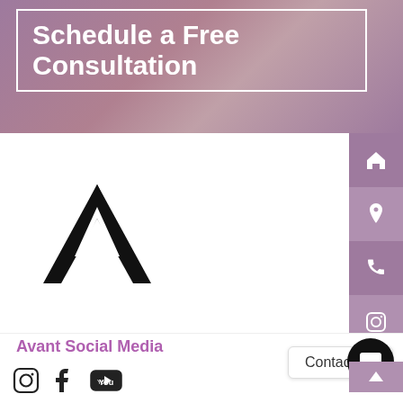Schedule a Free Consultation
[Figure (logo): Avant Social Media logo — stylized A shape made of two overlapping triangular lines forming a mountain/tent peak, black on white]
Avant Social Media
[Figure (illustration): Social media icons row: Instagram, Facebook, YouTube]
Contact Us